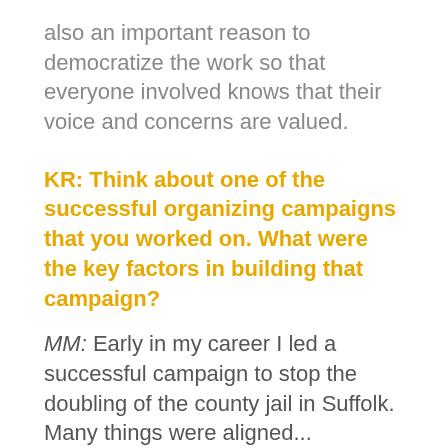also an important reason to democratize the work so that everyone involved knows that their voice and concerns are valued.
KR: Think about one of the successful organizing campaigns that you worked on. What were the key factors in building that campaign?
MM: Early in my career I led a successful campaign to stop the doubling of the county jail in Suffolk. Many things were aligned...